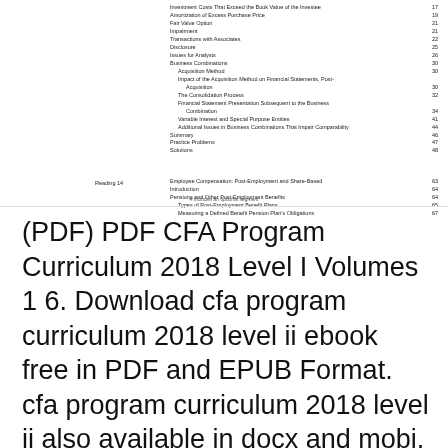Investment Costs That Exceed the Book Value of the Investee  17
Amortization of Excess Purchase Price  19
Fair Value Option  21
Impairment  21
Transactions with Associates  22
Disclosure  25
Issues for Analysts  26
Business Combinations  30
Acquisition Method  30
Impact of the Acquisition Method on Financial Statements, Post-Acquisition  30
The Consolidation Process  32
Financial Statement Presentation Subsequent to the Business Combination  34
Variable Interest and Special Purpose Entities  41
Additional Issues in Business Combinations That Impair Comparability  44
Summary  46
Practice Problems  47
Solutions  48
Reading 14  Employee Compensation: Post-Employment and Share-Based  63
Introduction  64
Pensions and Other Post-Employment Benefits  64
Types of Post-Employment Benefit Plans  65
Measuring a Defined Benefit Pension Plan's Obligations  67
# Indicates an optional segment
(PDF) PDF CFA Program Curriculum 2018 Level I Volumes 1 6. Download cfa program curriculum 2018 level ii ebook free in PDF and EPUB Format. cfa program curriculum 2018 level ii also available in docx and mobi. Read cfa program curriculum 2018 level ii online, read in mobile or Kindle., A downloadable and printable PDF with